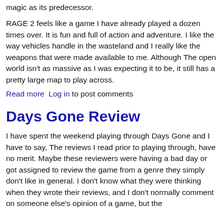magic as its predecessor.
RAGE 2 feels like a game I have already played a dozen times over. It is fun and full of action and adventure. I like the way vehicles handle in the wasteland and I really like the weapons that were made available to me. Although The open world isn't as massive as I was expecting it to be, it still has a pretty large map to play across.
Read more   Log in to post comments
Days Gone Review
I have spent the weekend playing through Days Gone and I have to say, The reviews I read prior to playing through, have no merit. Maybe these reviewers were having a bad day or got assigned to review the game from a genre they simply don't like in general. I don't know what they were thinking when they wrote their reviews, and I don't normally comment on someone else's opinion of a game, but the